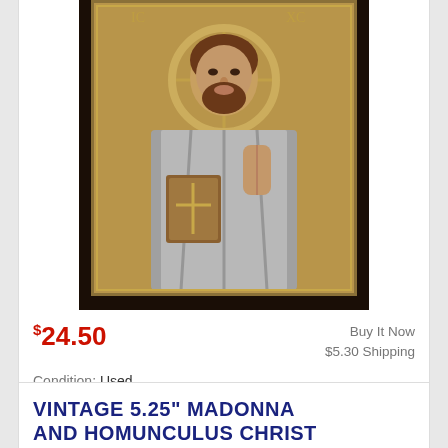[Figure (photo): Byzantine icon depicting Christ Pantocrator, with golden/silver metallic relief frame, holding a book, dark wooden border]
$24.50
Buy It Now
$5.30 Shipping
Condition: Used
Location: Murrieta, United States
Holy Precious Byzantine Icon. It is an exact copy of original Byzantine art. Made in Greece. Print of Christ is inserted in the carving.
VINTAGE 5.25" MADONNA AND HOMUNCULUS CHRIST